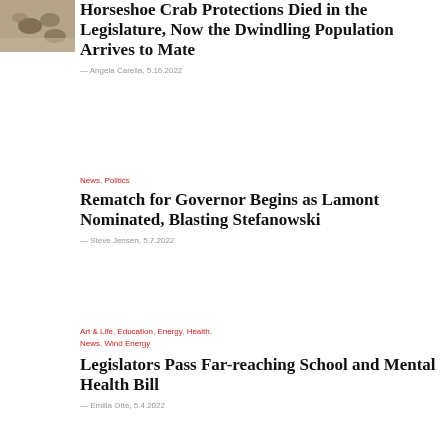[Figure (photo): Photo of horseshoe crabs on a beach, overhead/close-up view]
Horseshoe Crab Protections Died in the Legislature, Now the Dwindling Population Arrives to Mate
— Angela Carella, 5.16.2022
News, Politics
Rematch for Governor Begins as Lamont Nominated, Blasting Stefanowski
— Steve Jensen, 5.7.2022
Art & Life, Education, Energy, Health, News, Wind Energy
Legislators Pass Far-reaching School and Mental Health Bill
— Emilia Otte, 5.4.2022